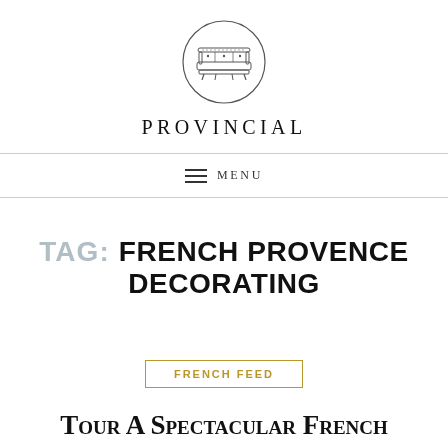[Figure (logo): Circular logo with an illustration of a French-style settee/sofa inside a thin circle border]
PROVINCIAL
≡ MENU
TAG: FRENCH PROVENCE DECORATING
FRENCH FEED
Tour A Spectacular French